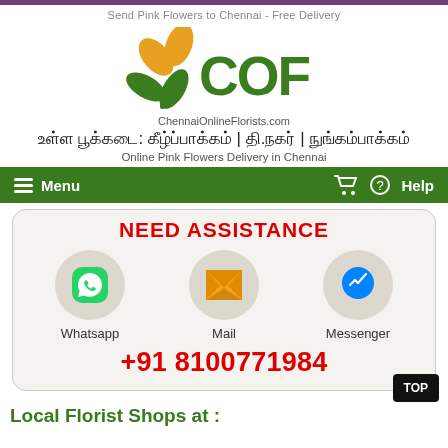Send Pink Flowers to Chennai - Free Delivery
[Figure (logo): COF ChennaiOnlineFlorists.com logo with green and orange flower icon]
உள்ள பூக்கடை: கீழ்ப்பாக்கம் | தி.நகர் | நுங்கம்பாக்கம்
Online Pink Flowers Delivery in Chennai
Menu  Help
NEED ASSISTANCE
Whatsapp  Mail  Messenger
+91 8100771984
Local Florist Shops at :